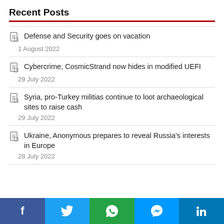Recent Posts
Defense and Security goes on vacation
1 August 2022
Cybercrime, CosmicStrand now hides in modified UEFI
29 July 2022
Syria, pro-Turkey militias continue to loot archaeological sites to raise cash
29 July 2022
Ukraine, Anonymous prepares to reveal Russia's interests in Europe
28 July 2022